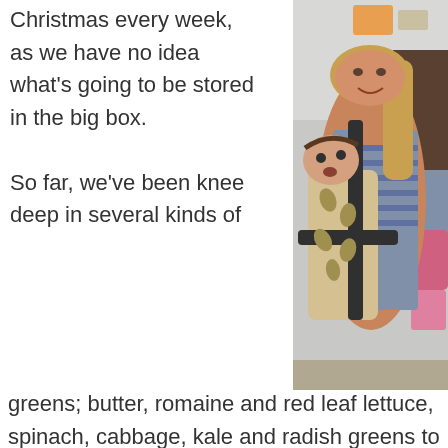Christmas every week, as we have no idea what's going to be stored in the big box.

So far, we've been knee deep in several kinds of greens; butter, romaine and red leaf lettuce, spinach, cabbage, kale and radish greens to be exact. Apparently greens are all the rage this time of year, so we've been trying to come up with new and delicious ways to use all
[Figure (photo): A smiling young woman wearing a striped tank top with a baby in a patterned baby carrier on her front, standing indoors with shelves and items visible in the background.]